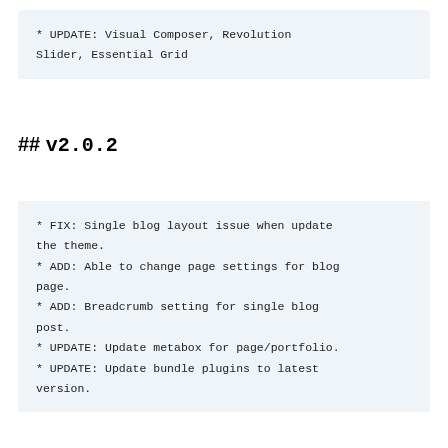* UPDATE: Visual Composer, Revolution Slider, Essential Grid
## v2.0.2
* FIX: Single blog layout issue when update the theme.
* ADD: Able to change page settings for blog page.
* ADD: Breadcrumb setting for single blog post.
* UPDATE: Update metabox for page/portfolio.
* UPDATE: Update bundle plugins to latest version.
## v2.0.1